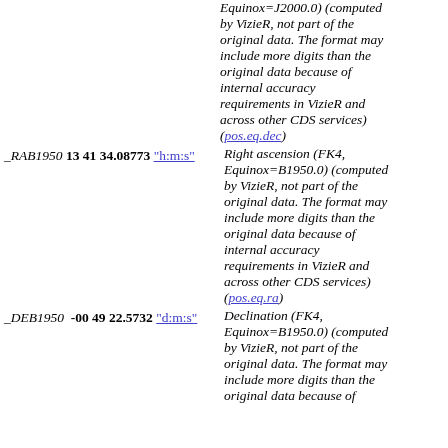Equinox=J2000.0) (computed by VizieR, not part of the original data. The format may include more digits than the original data because of internal accuracy requirements in VizieR and across other CDS services) (pos.eq.dec)
_RAB1950 13 41 34.08773 "h:m:s" Right ascension (FK4, Equinox=B1950.0) (computed by VizieR, not part of the original data. The format may include more digits than the original data because of internal accuracy requirements in VizieR and across other CDS services) (pos.eq.ra)
_DEB1950 -00 49 22.5732 "d:m:s" Declination (FK4, Equinox=B1950.0) (computed by VizieR, not part of the original data. The format may include more digits than the original data because of internal accuracy requirements in VizieR and across other CDS services)